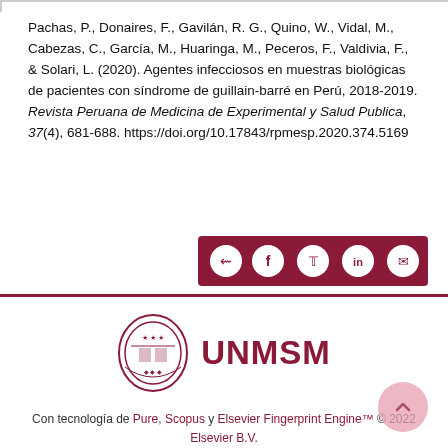Pachas, P., Donaires, F., Gavilán, R. G., Quino, W., Vidal, M., Cabezas, C., García, M., Huaringa, M., Peceros, F., Valdivia, F., & Solari, L. (2020). Agentes infecciosos en muestras biológicas de pacientes con síndrome de guillain-barré en Perú, 2018-2019. Revista Peruana de Medicina de Experimental y Salud Publica, 37(4), 681-688. https://doi.org/10.17843/rpmesp.2020.374.5169
[Figure (other): Social sharing bar with icons for share, Facebook, Twitter, LinkedIn, and email on a dark red background]
[Figure (logo): UNMSM university crest/shield logo in dark red, followed by bold red text UNMSM]
Con tecnología de Pure, Scopus y Elsevier Fingerprint Engine™ © 2022 Elsevier B.V.
Utilizamos cookies para ayudar a brindar y mejorar nuestro servicio y ajustar